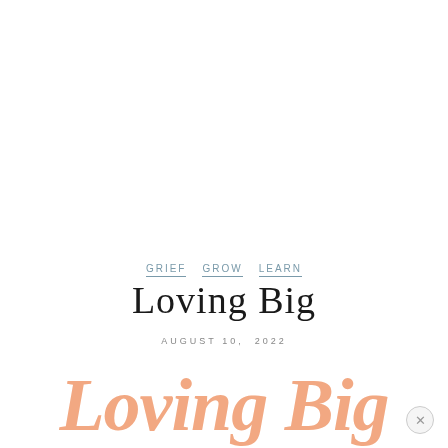GRIEF   GROW   LEARN
Loving Big
AUGUST 10, 2022
[Figure (illustration): Large decorative italic text reading 'Loving Big' in salmon/peach color, partially visible at bottom of page, with subtitle 'is Always Worth the Risk' below in lighter peach italic text]